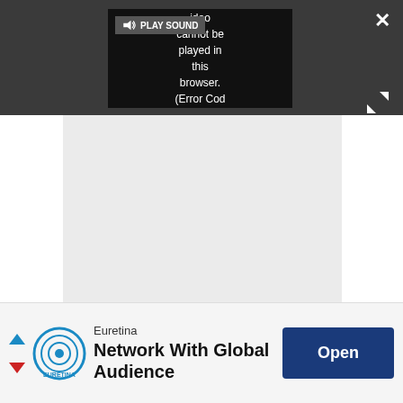[Figure (screenshot): Dark gray video player UI bar with a video showing error message 'Video cannot be played in this browser. (Error Cod', a PLAY SOUND button with speaker icon, a close X button top right, and expand arrows button.]
[Figure (screenshot): Light gray empty content area below the video player bar.]
[Figure (screenshot): Advertisement banner at the bottom for Euretina with logo, text 'Euretina - Network With Global Audience', and an Open button.]